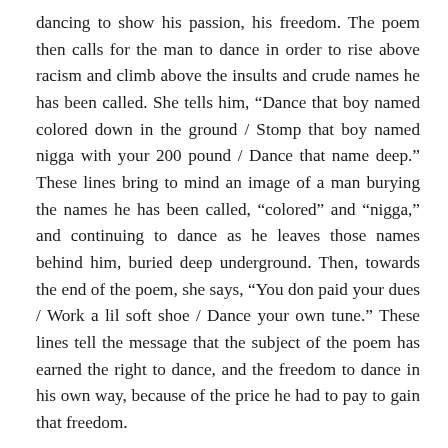dancing to show his passion, his freedom. The poem then calls for the man to dance in order to rise above racism and climb above the insults and crude names he has been called. She tells him, “Dance that boy named colored down in the ground / Stomp that boy named nigga with your 200 pound / Dance that name deep.” These lines bring to mind an image of a man burying the names he has been called, “colored” and “nigga,” and continuing to dance as he leaves those names behind him, buried deep underground. Then, towards the end of the poem, she says, “You don paid your dues / Work a lil soft shoe / Dance your own tune.” These lines tell the message that the subject of the poem has earned the right to dance, and the freedom to dance in his own way, because of the price he had to pay to gain that freedom.